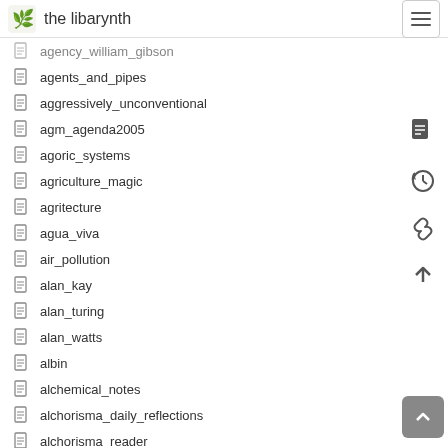the libarynth
agency_william_gibson
agents_and_pipes
aggressively_unconventional
agm_agenda2005
agoric_systems
agriculture_magic
agritecture
agua_viva
air_pollution
alan_kay
alan_turing
alan_watts
albin
alchemical_notes
alchorisma_daily_reflections
alchorisma_reader
alcohol_metabolism
aleksandr_sokurov
aleph_null